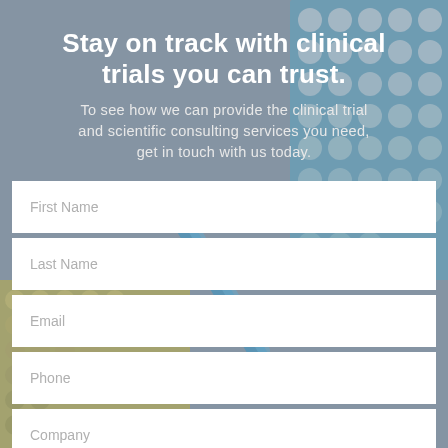Stay on track with clinical trials you can trust.
To see how we can provide the clinical trial and scientific consulting services you need, get in touch with us today.
First Name
Last Name
Email
Phone
Company